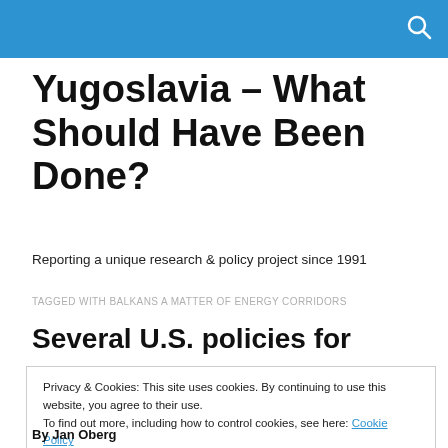Yugoslavia – What Should Have Been Done?
Reporting a unique research & policy project since 1991
TAGGED WITH BALKANS A MATTER OF ENERGY CORRIDORS
Several U.S. policies for
Privacy & Cookies: This site uses cookies. By continuing to use this website, you agree to their use.
To find out more, including how to control cookies, see here: Cookie Policy
By Jan Oberg